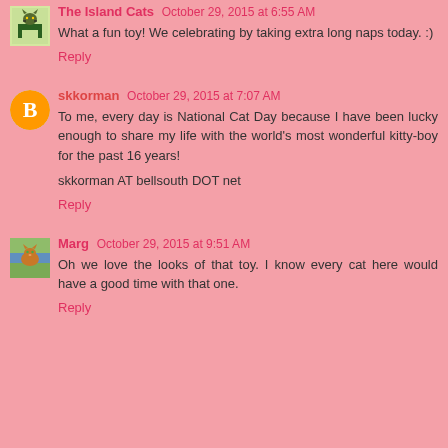The Island Cats October 29, 2015 at 6:55 AM
What a fun toy! We celebrating by taking extra long naps today. :)
Reply
skkorman October 29, 2015 at 7:07 AM
To me, every day is National Cat Day because I have been lucky enough to share my life with the world's most wonderful kitty-boy for the past 16 years!
skkorman AT bellsouth DOT net
Reply
Marg October 29, 2015 at 9:51 AM
Oh we love the looks of that toy. I know every cat here would have a good time with that one.
Reply